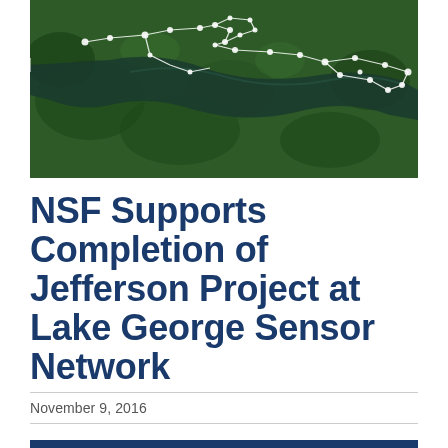[Figure (map): Aerial satellite map of a green forested lake area (Lake George) with white dots and connecting lines overlaid showing sensor network nodes along the lake shoreline.]
NSF Supports Completion of Jefferson Project at Lake George Sensor Network
November 9, 2016